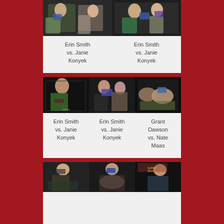[Figure (photo): Two MMA fight photos side by side showing Erin Smith vs. Janie Konyek, female fighters exchanging punches in cage]
Erin Smith vs. Janie Konyek
Erin Smith vs. Janie Konyek
[Figure (photo): Three MMA fight photos: Erin Smith vs Janie Konyek (two shots) and Grant Dawson vs Nate Maas]
Erin Smith vs. Janie Konyek
Erin Smith vs. Janie Konyek
Grant Dawson vs. Nate Maas
[Figure (photo): Three MMA fight photos at bottom, partially visible, showing male fighters grappling]